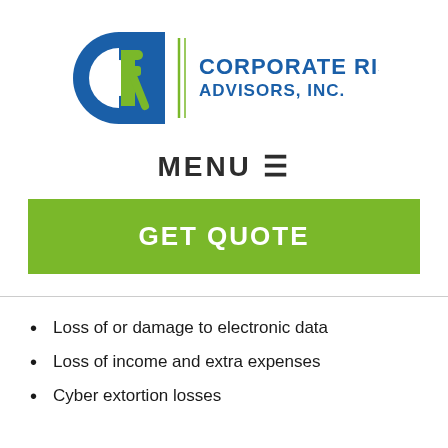[Figure (logo): Corporate Risk Advisors, Inc. logo with circular CR symbol in blue and green, vertical green line divider, and text CORPORATE RISK ADVISORS, INC. in blue]
MENU ☰
GET QUOTE
Loss of or damage to electronic data
Loss of income and extra expenses
Cyber extortion losses